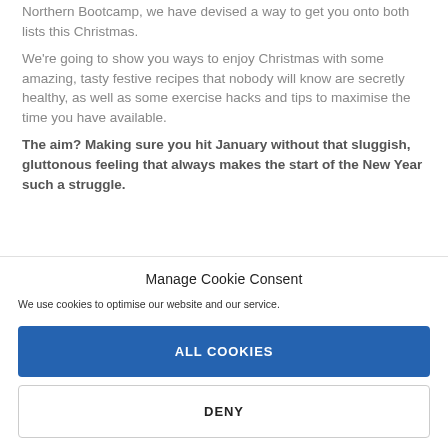Northern Bootcamp, we have devised a way to get you onto both lists this Christmas.
We're going to show you ways to enjoy Christmas with some amazing, tasty festive recipes that nobody will know are secretly healthy, as well as some exercise hacks and tips to maximise the time you have available.
The aim? Making sure you hit January without that sluggish, gluttonous feeling that always makes the start of the New Year such a struggle.
Manage Cookie Consent
We use cookies to optimise our website and our service.
ALL COOKIES
DENY